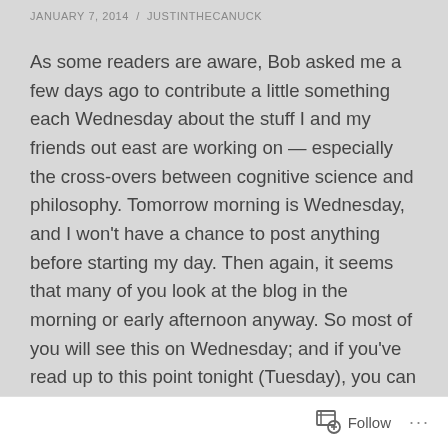JANUARY 7, 2014 / JUSTINTHECANUCK
As some readers are aware, Bob asked me a few days ago to contribute a little something each Wednesday about the stuff I and my friends out east are working on — especially the cross-overs between cognitive science and philosophy. Tomorrow morning is Wednesday, and I won't have a chance to post anything before starting my day. Then again, it seems that many of you look at the blog in the morning or early afternoon anyway. So most of you will see this on Wednesday; and if you've read up to this point tonight (Tuesday), you can just save the rest for tomorrow! It'll be like Christmas.
Before getting into some of the surprising discoveries
Follow ...